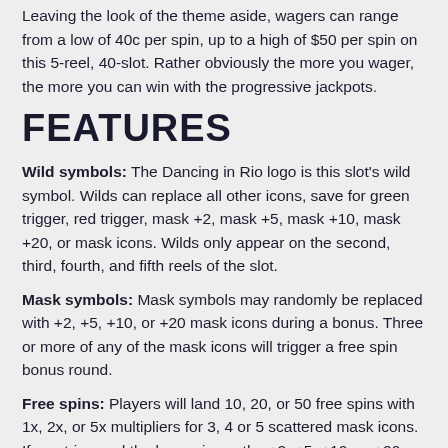Leaving the look of the theme aside, wagers can range from a low of 40c per spin, up to a high of $50 per spin on this 5-reel, 40-slot. Rather obviously the more you wager, the more you can win with the progressive jackpots.
FEATURES
Wild symbols: The Dancing in Rio logo is this slot's wild symbol. Wilds can replace all other icons, save for green trigger, red trigger, mask +2, mask +5, mask +10, mask +20, or mask icons. Wilds only appear on the second, third, fourth, and fifth reels of the slot.
Mask symbols: Mask symbols may randomly be replaced with +2, +5, +10, or +20 mask icons during a bonus. Three or more of any of the mask icons will trigger a free spin bonus round.
Free spins: Players will land 10, 20, or 50 free spins with 1x, 2x, or 5x multipliers for 3, 4 or 5 scattered mask icons. If you triggered the bonus icons the +2, +5, +10, or +20 mask icons